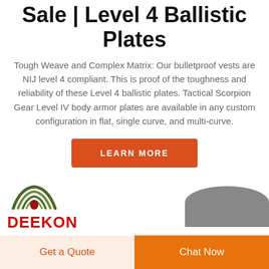Sale | Level 4 Ballistic Plates
Tough Weave and Complex Matrix: Our bulletproof vests are NIJ level 4 compliant. This is proof of the toughness and reliability of these Level 4 ballistic plates. Tactical Scorpion Gear Level IV body armor plates are available in any custom configuration in flat, single curve, and multi-curve.
LEARN MORE
[Figure (logo): DEEKON brand logo with green military-style icon above bold red DEEKON text]
[Figure (photo): Dark grey curved ballistic plate product image]
Get a Quote
Chat Now